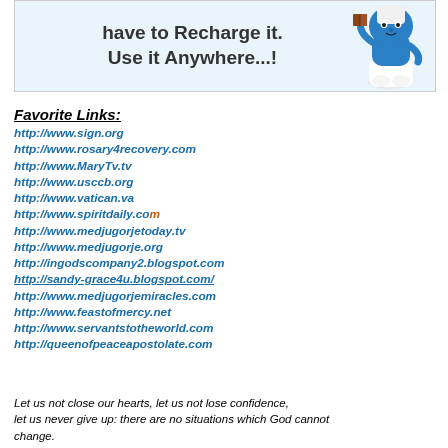[Figure (illustration): Banner advertisement with text 'have to Recharge it. Use it Anywhere...!' and a Smurf character figurine on the right side]
Favorite Links:
http://www.sign.org
http://www.rosary4recovery.com
http://www.MaryTv.tv
http://www.usccb.org
http://www.vatican.va
http://www.spiritdaily.com
http://www.medjugorjetoday.tv
http://www.medjugorje.org
http://ingodscompany2.blogspot.com
http://sandy-grace4u.blogspot.com/
http://www.medjugorjemiracles.com
http://www.feastofmercy.net
http://www.servantstotheworld.com
http://queenofpeaceapostolate.com
Let us not close our hearts, let us not lose confidence, let us never give up: there are no situations which God cannot change.